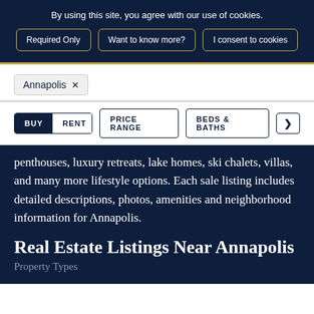By using this site, you agree with our use of cookies.
Required Only | Want to know more? | I consent to cookies
Annapolis ×
BUY  RENT  PRICE RANGE  BEDS & BATHS  >
penthouses, luxury retreats, lake homes, ski chalets, villas, and many more lifestyle options. Each sale listing includes detailed descriptions, photos, amenities and neighborhood information for Annapolis.
Real Estate Listings Near Annapolis
Property Types